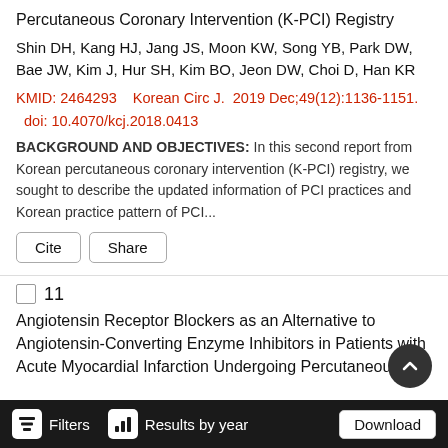Percutaneous Coronary Intervention (K-PCI) Registry
Shin DH, Kang HJ, Jang JS, Moon KW, Song YB, Park DW, Bae JW, Kim J, Hur SH, Kim BO, Jeon DW, Choi D, Han KR
KMID: 2464293    Korean Circ J.  2019 Dec;49(12):1136-1151.  doi: 10.4070/kcj.2018.0413
BACKGROUND AND OBJECTIVES: In this second report from Korean percutaneous coronary intervention (K-PCI) registry, we sought to describe the updated information of PCI practices and Korean practice pattern of PCI...
Cite   Share
11
Angiotensin Receptor Blockers as an Alternative to Angiotensin-Converting Enzyme Inhibitors in Patients with Acute Myocardial Infarction Undergoing Percutaneous
Filters   Results by year   Download